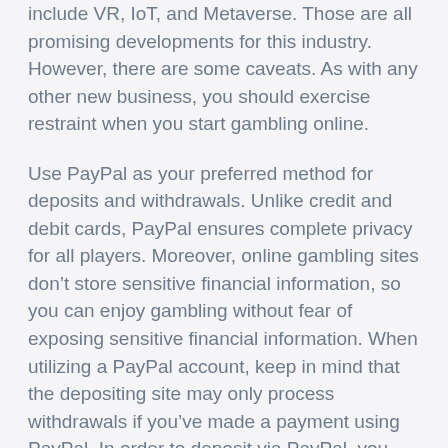include VR, IoT, and Metaverse. Those are all promising developments for this industry. However, there are some caveats. As with any other new business, you should exercise restraint when you start gambling online.
Use PayPal as your preferred method for deposits and withdrawals. Unlike credit and debit cards, PayPal ensures complete privacy for all players. Moreover, online gambling sites don't store sensitive financial information, so you can enjoy gambling without fear of exposing sensitive financial information. When utilizing a PayPal account, keep in mind that the depositing site may only process withdrawals if you've made a payment using PayPal. In order to deposit via PayPal, you must have a personal U.S. PayPal account, otherwise, you'll need to log in with a separate login.
France has also recently introduced new laws to